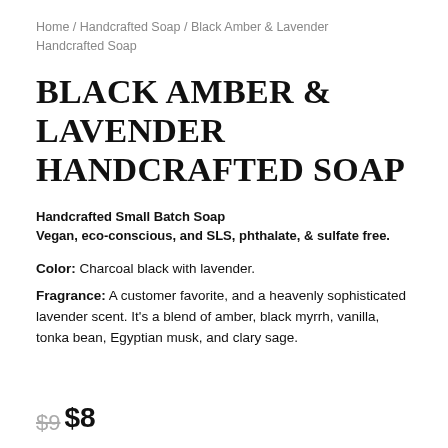Home / Handcrafted Soap / Black Amber & Lavender Handcrafted Soap
BLACK AMBER & LAVENDER HANDCRAFTED SOAP
Handcrafted Small Batch Soap
Vegan, eco-conscious, and SLS, phthalate, & sulfate free.
Color: Charcoal black with lavender.
Fragrance: A customer favorite, and a heavenly sophisticated lavender scent. It's a blend of amber, black myrrh, vanilla, tonka bean, Egyptian musk, and clary sage.
$9 $8